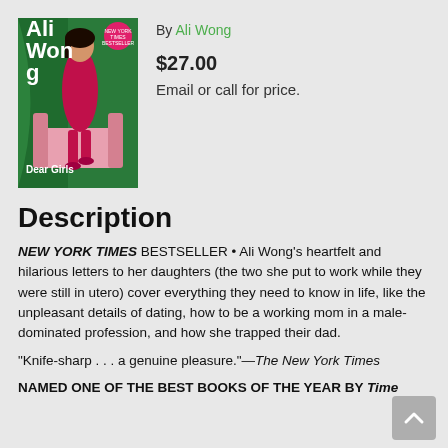[Figure (photo): Book cover of 'Dear Girls' by Ali Wong showing a woman in a red dress seated on a pink chair against a green background]
By Ali Wong
$27.00
Email or call for price.
Description
NEW YORK TIMES BESTSELLER • Ali Wong's heartfelt and hilarious letters to her daughters (the two she put to work while they were still in utero) cover everything they need to know in life, like the unpleasant details of dating, how to be a working mom in a male-dominated profession, and how she trapped their dad.
“Knife-sharp . . . a genuine pleasure.”—The New York Times
NAMED ONE OF THE BEST BOOKS OF THE YEAR BY Time